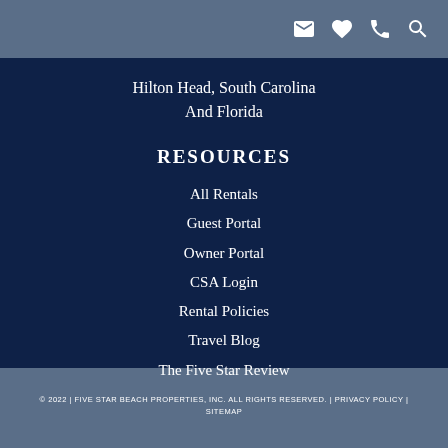Hilton Head, South Carolina
And Florida
RESOURCES
All Rentals
Guest Portal
Owner Portal
CSA Login
Rental Policies
Travel Blog
The Five Star Review
© 2022 | FIVE STAR BEACH PROPERTIES, INC. ALL RIGHTS RESERVED. | PRIVACY POLICY | SITEMAP